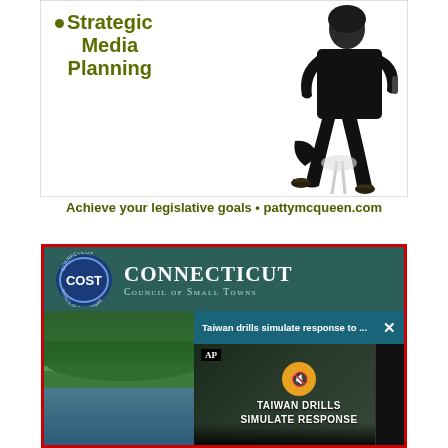[Figure (photo): Advertisement for Patty McQueen media planning services — woman in black seated on transparent chair, text reading 'Strategic Media Planning']
Achieve your legislative goals • pattymcqueen.com
[Figure (screenshot): Connecticut Council of Small Towns (COST) advertisement with landscape background, overlaid by AP video popup: 'Taiwan drills simulate response to ...' with TAIWAN DRILLS SIMULATE RESPONSE text and soldier imagery]